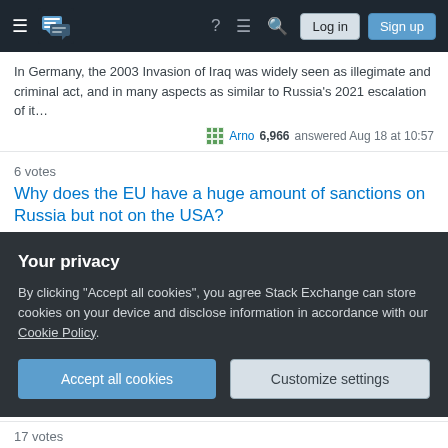Stack Exchange navigation bar with logo, hamburger menu, help, chat, search, Log in and Sign up buttons
In Germany, the 2003 Invasion of Iraq was widely seen as illegimate and criminal act, and in many aspects as similar to Russia's 2021 escalation of it…
Arno 6,966 answered Aug 18 at 10:57
6 votes
Why does the EU have a huge amount of sanctions on Russia but not on the USA?
Comparing Iraq (2003) with Ukraine is somewhat silly from a EU perspective because while France or Germany did not support that invasion, they were n…
Fizz 111k answered Aug 18 at 10:04
3 votes
Your privacy
By clicking "Accept all cookies", you agree Stack Exchange can store cookies on your device and disclose information in accordance with our Cookie Policy.
Accept all cookies
Customize settings
17 votes